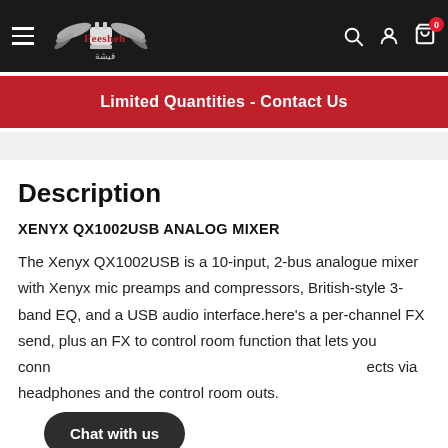Feesheh — navigation bar with logo, search, account, and cart icons
Limited Quantities - Contact Us
Description
XENYX QX1002USB ANALOG MIXER
The Xenyx QX1002USB is a 10-input, 2-bus analogue mixer with Xenyx mic preamps and compressors, British-style 3-band EQ, and a USB audio interface.here's a per-channel FX send, plus an FX to control room function that lets you connects via headphones and the control room outs.
Chat with us